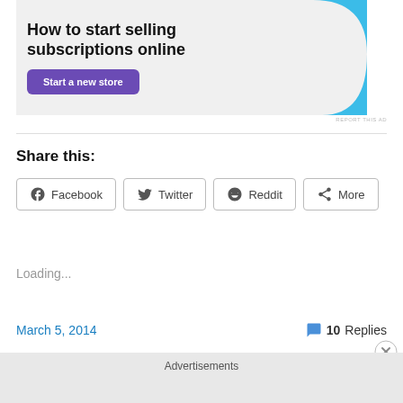[Figure (illustration): Advertisement banner: 'How to start selling subscriptions online' with a purple 'Start a new store' button and a light blue decorative shape on the right]
REPORT THIS AD
Share this:
Facebook  Twitter  Reddit  More
Loading...
March 5, 2014
10 Replies
Advertisements
REPORT THIS AD